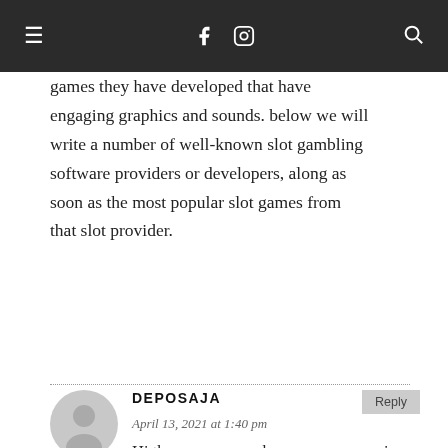≡  f  🎲  🔍
games they have developed that have engaging graphics and sounds. below we will write a number of well-known slot gambling software providers or developers, along as soon as the most popular slot games from that slot provider.
DEPOSAJA
April 13, 2021 at 1:40 pm
Hi there every one, here every person is sharing these familiarity, so it's good to read this weblog, and I